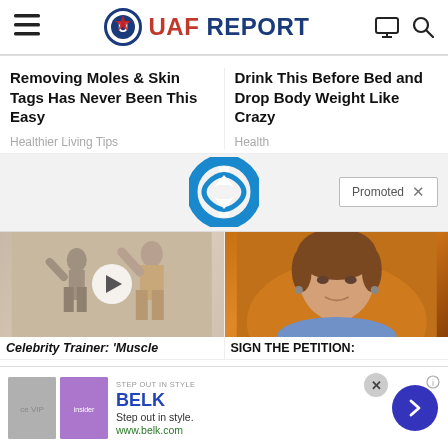UAF REPORT
Removing Moles & Skin Tags Has Never Been This Easy
Healthier Living Tips
Drink This Before Bed and Drop Body Weight Like Crazy
Health
[Figure (logo): Promoted banner with circular blue logo icon]
[Figure (photo): Two people exercising in a gym with a video play button overlay]
Celebrity Trainer: 'Muscle
[Figure (photo): Woman with brown hair against orange background]
SIGN THE PETITION:
[Figure (infographic): Bottom ad banner: BELK - Step out in style. www.belk.com with thumbnail images and arrow button]